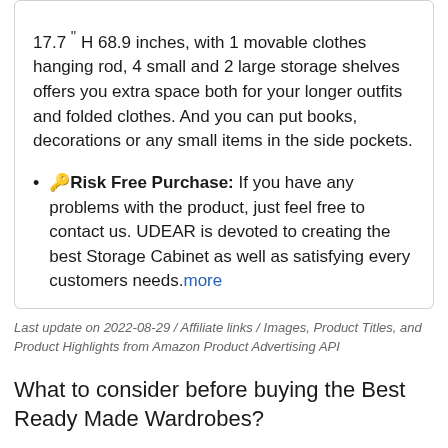17.7 '' H 68.9 inches, with 1 movable clothes hanging rod, 4 small and 2 large storage shelves offers you extra space both for your longer outfits and folded clothes. And you can put books, decorations or any small items in the side pockets.
🔑Risk Free Purchase: If you have any problems with the product, just feel free to contact us. UDEAR is devoted to creating the best Storage Cabinet as well as satisfying every customers needs. more
Last update on 2022-08-29 / Affiliate links / Images, Product Titles, and Product Highlights from Amazon Product Advertising API
What to consider before buying the Best Ready Made Wardrobes?
1. Your budget